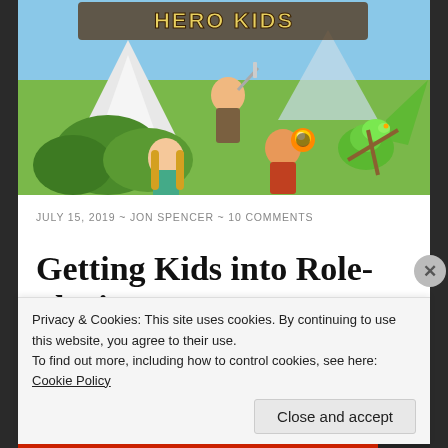[Figure (illustration): Hero Kids game cover art showing cartoon children adventurers with a dragon, mountains and trees in background with stylized 'Hero Kids' title text at top]
JULY 15, 2019 ~ JON SPENCER ~ 10 COMMENTS
Getting Kids into Role-playing
Privacy & Cookies: This site uses cookies. By continuing to use this website, you agree to their use.
To find out more, including how to control cookies, see here: Cookie Policy
Close and accept